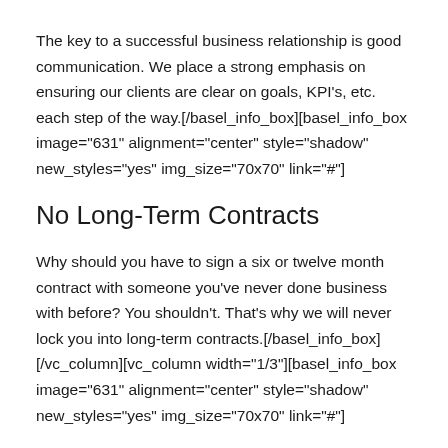The key to a successful business relationship is good communication. We place a strong emphasis on ensuring our clients are clear on goals, KPI's, etc. each step of the way.[/basel_info_box][basel_info_box image="631" alignment="center" style="shadow" new_styles="yes" img_size="70x70" link="#"]
No Long-Term Contracts
Why should you have to sign a six or twelve month contract with someone you've never done business with before? You shouldn't. That's why we will never lock you into long-term contracts.[/basel_info_box][/vc_column][vc_column width="1/3"][basel_info_box image="631" alignment="center" style="shadow" new_styles="yes" img_size="70x70" link="#"]